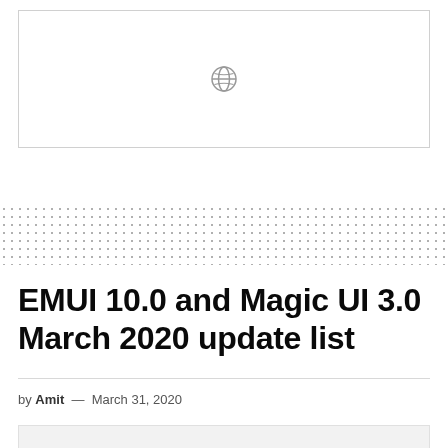[Figure (other): White box with a broken image / globe placeholder icon centered in it]
EMUI 10.0 and Magic UI 3.0 March 2020 update list
by Amit — March 31, 2020
[Figure (other): Light gray image placeholder box at the bottom of the page]